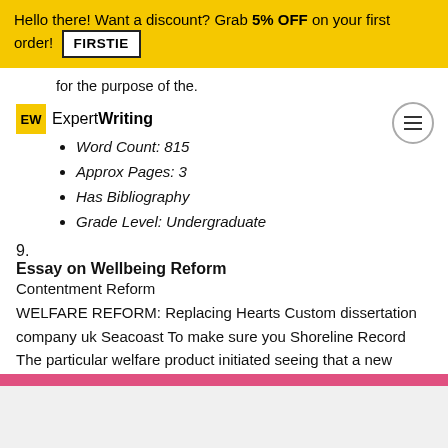Hello there! Want a discount? Grab 5% OFF on your first order! FIRSTIE
for the purpose of the.
EW ExpertWriting
Word Count: 815
Approx Pages: 3
Has Bibliography
Grade Level: Undergraduate
9.
Essay on Wellbeing Reform
Contentment Reform
WELFARE REFORM: Replacing Hearts Custom dissertation company uk Seacoast To make sure you Shoreline Record The particular welfare product initiated seeing that a new local27; course.
. The actual soon after will be the number regarding individuals just who currently have ended up serious most very likely in order to get long-term people associated with say aid: Have never ever ended up